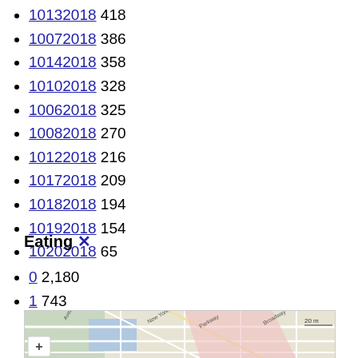10132018 418
10072018 386
10142018 358
10102018 328
10062018 325
10082018 270
10122018 216
10172018 209
10182018 194
10192018 154
10202018 65
Eating ✕
0 2,180
1 743
[Figure (map): Street map showing a city area with roads, parks, and a zoom control (+) button in the lower left corner.]